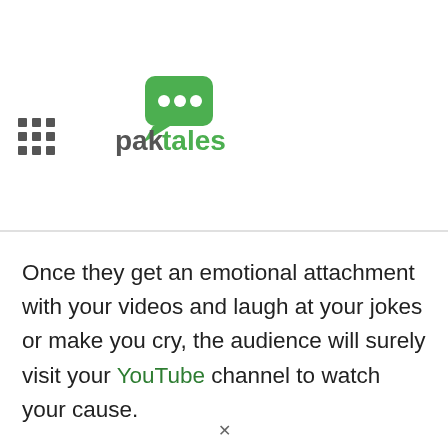[Figure (logo): Paktales logo with green speech bubble icon and green/grey text]
[Figure (screenshot): Ad popup showing Hotels.com ad 'Find Your Match' with lake/forest image, and Wegmans 'Get Your Flu Shot' ad below]
Once they get an emotional attachment with your videos and laugh at your jokes or make you cry, the audience will surely visit your YouTube channel to watch your cause.